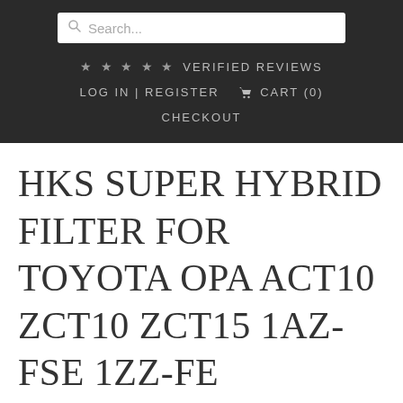Search...
★★★★★ VERIFIED REVIEWS
LOG IN | REGISTER  🛒 CART (0)
CHECKOUT
HKS SUPER HYBRID FILTER FOR TOYOTA OPA ACT10 ZCT10 ZCT15 1AZ-FSE 1ZZ-FE